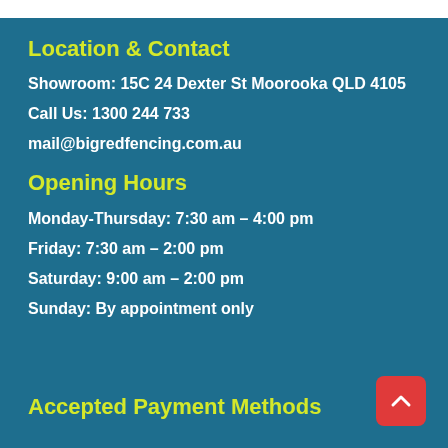Location & Contact
Showroom: 15C 24 Dexter St Moorooka QLD 4105
Call Us: 1300 244 733
mail@bigredfencing.com.au
Opening Hours
Monday-Thursday: 7:30 am – 4:00 pm
Friday: 7:30 am – 2:00 pm
Saturday: 9:00 am – 2:00 pm
Sunday: By appointment only
Accepted Payment Methods